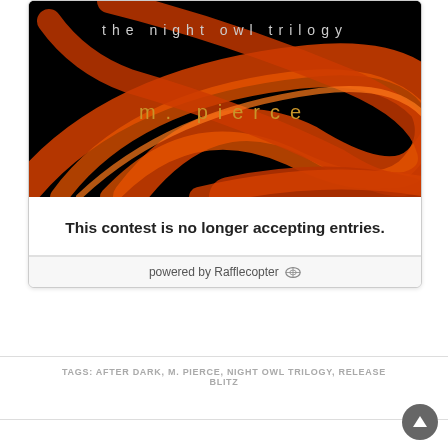[Figure (illustration): Book cover for 'the night owl trilogy' by m. pierce. Black background with orange/red swirling ribbon shapes and text in orange: 'the night owl trilogy' at top and 'm. pierce' in the middle.]
This contest is no longer accepting entries.
powered by Rafflecopter
TAGS: AFTER DARK, M. PIERCE, NIGHT OWL TRILOGY, RELEASE BLITZ